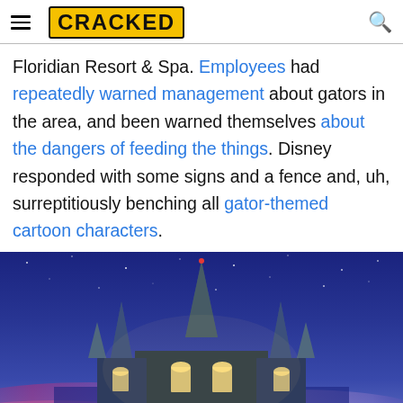CRACKED (logo with hamburger menu and search icon)
Floridian Resort & Spa. Employees had repeatedly warned management about gators in the area, and been warned themselves about the dangers of feeding the things. Disney responded with some signs and a fence and, uh, surreptitiously benching all gator-themed cartoon characters.
[Figure (photo): Cinderella Castle at Disney World illuminated at night under a deep blue starry sky with pink and purple clouds at the base.]